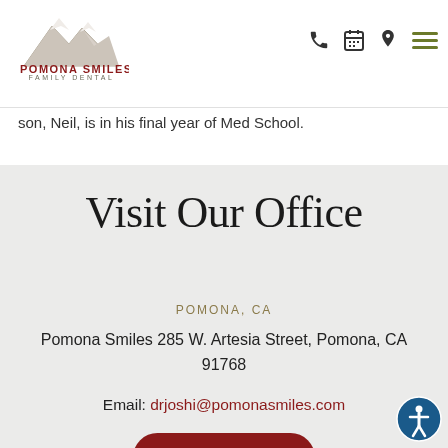[Figure (logo): Pomona Smiles Family Dental logo with mountain graphic, dark red text 'POMONA SMILES' and olive text 'FAMILY DENTAL']
[Figure (infographic): Navigation header icons: phone, calendar, map pin, hamburger menu]
son, Neil, is in his final year of Med School.
Visit Our Office
POMONA, CA
Pomona Smiles 285 W. Artesia Street, Pomona, CA 91768
Email: drjoshi@pomonasmiles.com
Book Now